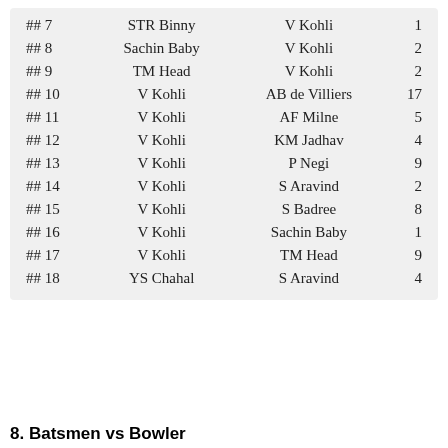| # | Batsman/Bowler | Opponent | Count |
| --- | --- | --- | --- |
| ## 7 | STR Binny | V Kohli | 1 |
| ## 8 | Sachin Baby | V Kohli | 2 |
| ## 9 | TM Head | V Kohli | 2 |
| ## 10 | V Kohli | AB de Villiers | 17 |
| ## 11 | V Kohli | AF Milne | 5 |
| ## 12 | V Kohli | KM Jadhav | 4 |
| ## 13 | V Kohli | P Negi | 9 |
| ## 14 | V Kohli | S Aravind | 2 |
| ## 15 | V Kohli | S Badree | 8 |
| ## 16 | V Kohli | Sachin Baby | 1 |
| ## 17 | V Kohli | TM Head | 9 |
| ## 18 | YS Chahal | S Aravind | 4 |
8. Batsmen vs Bowler